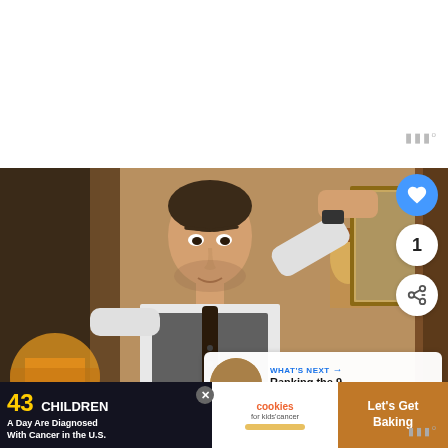[Figure (photo): White blank area at top of page, with a watermark symbol (three vertical bars with a degree symbol) in gray at the right.]
[Figure (photo): A man in a vest and tie standing in a warmly-lit room, reaching up to hold a door frame. There are UI overlays: a blue heart button, a count badge showing '1', and a share button on the right side. A 'WHAT'S NEXT' card in the bottom right shows a thumbnail and 'Ranking the 9 Most...']
WHAT'S NEXT → Ranking the 9 Most...
[Figure (screenshot): Ad banner at the bottom: '43 CHILDREN A Day Are Diagnosed With Cancer in the U.S.' with cookies for kids' cancer logo and 'Let's Get Baking' text.]